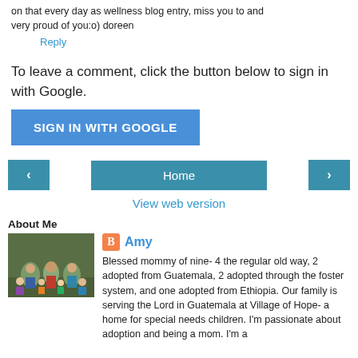on that every day as wellness blog entry, miss you to and very proud of you:o) doreen
Reply
To leave a comment, click the button below to sign in with Google.
SIGN IN WITH GOOGLE
[Figure (other): Navigation row with previous arrow button, Home button, and next arrow button]
View web version
About Me
[Figure (photo): Family photo outdoors with trees in background]
Amy
Blessed mommy of nine- 4 the regular old way, 2 adopted from Guatemala, 2 adopted through the foster system, and one adopted from Ethiopia. Our family is serving the Lord in Guatemala at Village of Hope- a home for special needs children. I'm passionate about adoption and being a mom. I'm a